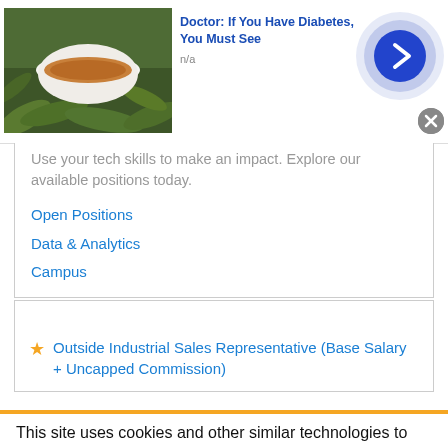[Figure (infographic): Advertisement banner: photo of tea/soup in bowl with green plants, titled 'Doctor: If You Have Diabetes, You Must See', subtitle 'n/a', with blue arrow button and close X]
Use your tech skills to make an impact. Explore our available positions today.
Open Positions
Data & Analytics
Campus
★ Outside Industrial Sales Representative (Base Salary + Uncapped Commission)
This site uses cookies and other similar technologies to provide site functionality, analyze traffic and usage, and
[Figure (infographic): Advertisement banner bottom: photo of colorful candy/fruit, titled 'Doctor: If You Have Diabetes, You Must See', subtitle 'n/a', with blue arrow button and close X]